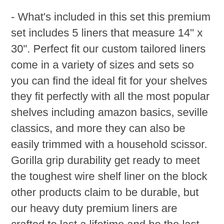- What's included in this set this premium set includes 5 liners that measure 14" x 30". Perfect fit our custom tailored liners come in a variety of sizes and sets so you can find the ideal fit for your shelves they fit perfectly with all the most popular shelves including amazon basics, seville classics, and more they can also be easily trimmed with a household scissor. Gorilla grip durability get ready to meet the toughest wire shelf liner on the block other products claim to be durable, but our heavy duty premium liners are crafted to last a lifetime and be the last liners you ever need to buy. 10 year guarantee we are proud to offer a 10-year no questions asked guarantee if you are at all unsatisfied with your product, please contact us (through amazon if past the standard return window) & we will be happy to assist you our goal is to make our customers to be happy. Thick and waterproof our functional liners are made of thick